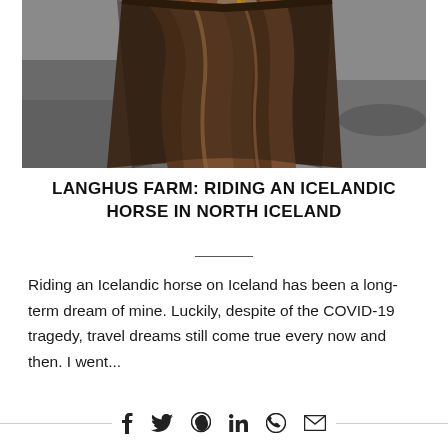[Figure (photo): Close-up view from behind a dark brown Icelandic horse, showing its thick mane and neck, with a rocky/sandy Icelandic landscape in the background.]
LANGHUS FARM: RIDING AN ICELANDIC HORSE IN NORTH ICELAND
Riding an Icelandic horse on Iceland has been a long-term dream of mine. Luckily, despite of the COVID-19 tragedy, travel dreams still come true every now and then. I went...